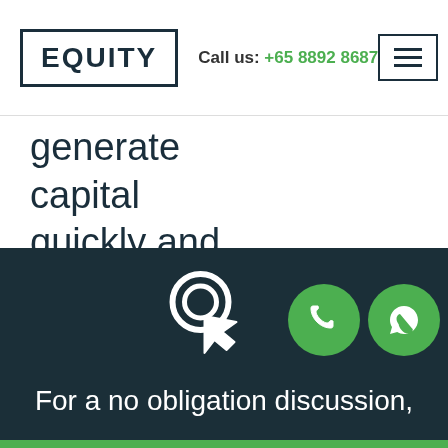EQUITY | Call us: +65 8892 8687
generate capital quickly and easily.
Learn More
[Figure (illustration): Dark teal footer section with a white click/cursor icon, two green circular buttons (phone icon and WhatsApp icon), and text reading 'For a no obligation discussion,']